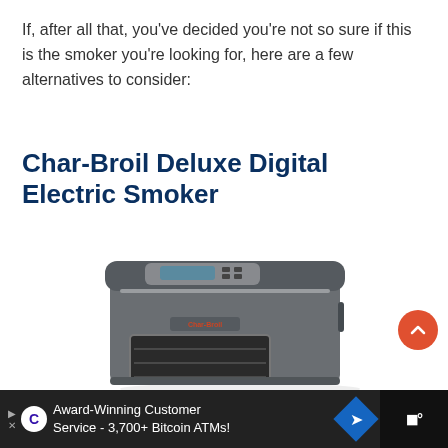If, after all that, you’ve decided you’re not so sure if this is the smoker you’re looking for, here are a few alternatives to consider:
Char-Broil Deluxe Digital Electric Smoker
[Figure (photo): Photo of a Char-Broil Deluxe Digital Electric Smoker, a dark grey metallic electric smoker unit with a digital control panel on top and a glass-windowed door showing interior racks]
Award-Winning Customer Service - 3,700+ Bitcoin ATMs!